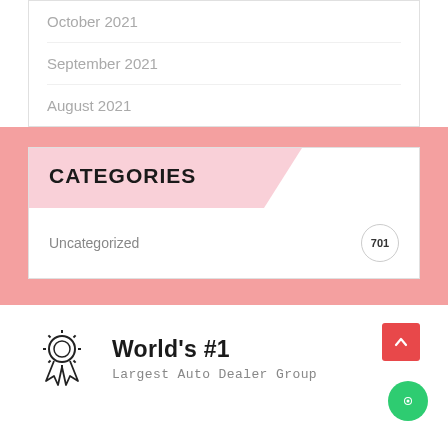October 2021
September 2021
August 2021
CATEGORIES
Uncategorized  701
[Figure (logo): Award/ribbon badge icon (outline style)]
World's #1
Largest Auto Dealer Group